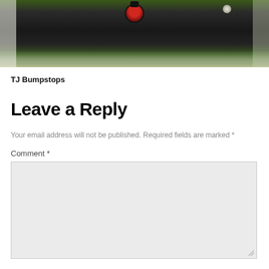[Figure (photo): Close-up photograph of TJ Bumpstops automotive part, showing a red bumpstop component with black hardware against a dark mechanical background with green foliage visible at edges.]
TJ Bumpstops
Leave a Reply
Your email address will not be published. Required fields are marked *
Comment *